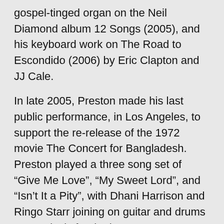gospel-tinged organ on the Neil Diamond album 12 Songs (2005), and his keyboard work on The Road to Escondido (2006) by Eric Clapton and JJ Cale.
In late 2005, Preston made his last public performance, in Los Angeles, to support the re-release of the 1972 movie The Concert for Bangladesh. Preston played a three song set of “Give Me Love”, “My Sweet Lord”, and “Isn’t It a Pity”, with Dhani Harrison and Ringo Starr joining on guitar and drums respectively for the last song.
He made his last public appearance in late 2005 at the Los Angeles press junket for the re-release of the Concert for Bangladesh movie. He was in good spirits and talked to many in the press. Afterwards he played a three song set of “Give Me Love”, “My Sweet Lord” and “Isn’t It a Pity”, featuring Dhani Harrison on